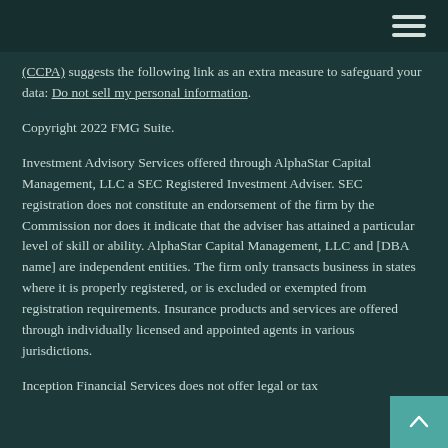(CCPA) suggests the following link as an extra measure to safeguard your data: Do not sell my personal information.
Copyright 2022 FMG Suite.
Investment Advisory Services offered through AlphaStar Capital Management, LLC a SEC Registered Investment Adviser. SEC registration does not constitute an endorsement of the firm by the Commission nor does it indicate that the adviser has attained a particular level of skill or ability. AlphaStar Capital Management, LLC and [DBA name] are independent entities. The firm only transacts business in states where it is properly registered, or is excluded or exempted from registration requirements. Insurance products and services are offered through individually licensed and appointed agents in various jurisdictions.
Inception Financial Services does not offer legal or tax